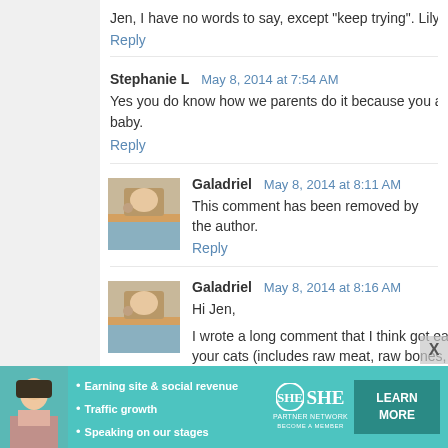Jen, I have no words to say, except "keep trying". Lily is bea...
Reply
Stephanie L  May 8, 2014 at 7:54 AM
Yes you do know how we parents do it because you are a p... baby.
Reply
[Figure (photo): Avatar photo of Galadriel - outdoor rock climbing scene]
Galadriel  May 8, 2014 at 8:11 AM
This comment has been removed by the author.
Reply
[Figure (photo): Avatar photo of Galadriel - outdoor rock climbing scene]
Galadriel  May 8, 2014 at 8:16 AM
Hi Jen,
I wrote a long comment that I think got eaten...Anyway, the... your cats (includes raw meat, raw bones, and raw org... so improved; she also had a skin disorder that cleare...
[Figure (infographic): SHE Partner Network advertisement banner with woman photo, bullet points about Earning site & social revenue, Traffic growth, Speaking on our stages, SHE logo, and LEARN MORE button]